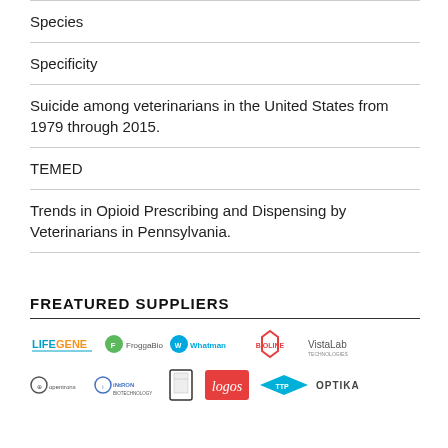Species
Specificity
Suicide among veterinarians in the United States from 1979 through 2015.
TEMED
Trends in Opioid Prescribing and Dispensing by Veterinarians in Pennsylvania.
FREATURED SUPPLIERS
[Figure (logo): Row of supplier logos: Lifegene, FroggaBio, Whatman, Bioline, VistaLab]
[Figure (logo): Row of supplier logos: Opentrons, Intron Biotechnology, unknown, Logos, unknown, Optika]